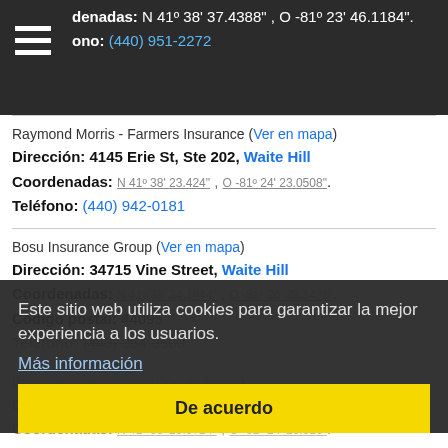Coordenadas: N 41° 38' 37.4388", O -81° 23' 46.1184".
Teléfono: (440) 951-2272
Raymond Morris - Farmers Insurance (Ver en mapa)
Dirección: 4145 Erie St, Ste 202, Waite Hill
Coordenadas: N 41° 38' 23.424", O -81° 24' 23.0508".
Teléfono: (440) 942-0181
Bosu Insurance Group (Ver en mapa)
Dirección: 34715 Vine Street, Waite Hill
Coordenadas: N 41° 38' 34.1844", O -81° 26' 28.1436".
Código postal: 44095
Teléfono: (440) 954-9500
Este sitio web utiliza cookies para garantizar la mejor experiencia a los usuarios.
Más información
De acuerdo
Farmers Insurance (Ver en mapa)
Dirección: 2401 Kemp Blvd, Waite Hill
Coordenadas: N 41° 38' 20.0724", O -81° 24' 26.316".
Teléfono: (440) 953-1441